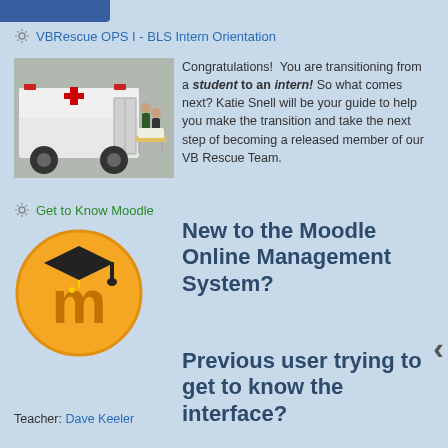VBRescue OPS I - BLS Intern Orientation
[Figure (photo): Paramedics loading a patient on a stretcher into an ambulance]
Congratulations! You are transitioning from a student to an intern! So what comes next? Katie Snell will be your guide to help you make the transition and take the next step of becoming a released member of our VB Rescue Team.
Get to Know Moodle
[Figure (logo): Moodle orange circular logo with graduation cap]
New to the Moodle Online Management System?
Previous user trying to get to know the interface?
Teacher: Dave Keeler